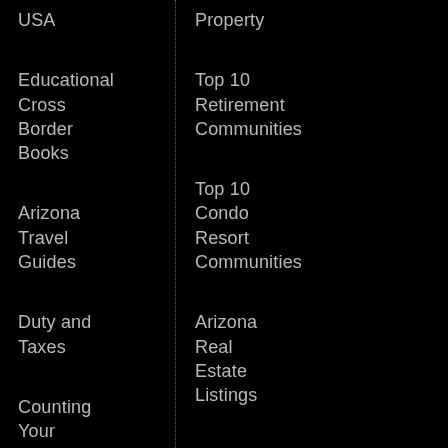USA
Educational Cross Border Books
Arizona Travel Guides
Duty and Taxes
Counting Your Visitor Days
Property
Top 10 Retirement Communities
Top 10 Condo Resort Communities
Arizona Real Estate Listings
Arizona Home Evaluation
Meet Our Real Estate Team